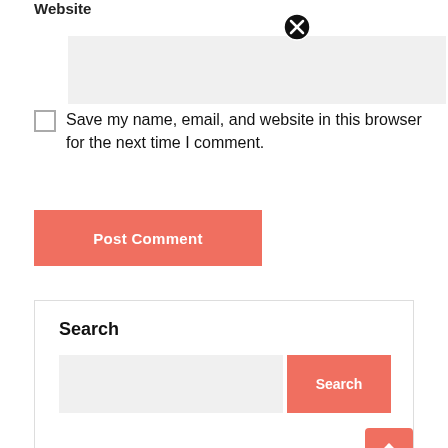Website
[Figure (screenshot): Website text input field with close (X) icon]
Save my name, email, and website in this browser for the next time I comment.
[Figure (screenshot): Post Comment button (salmon/coral color)]
Search
[Figure (screenshot): Search input field with Search button]
[Figure (screenshot): Up arrow back-to-top button]
ads
[Figure (screenshot): Ads section with close (X) icon]